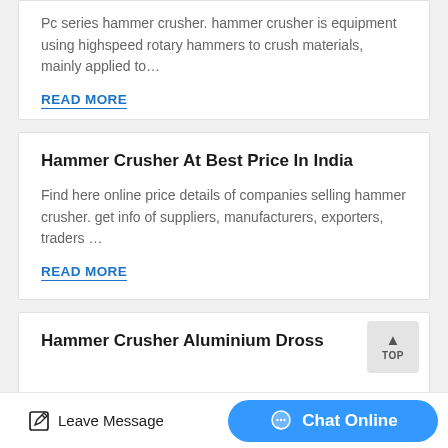Pc series hammer crusher. hammer crusher is equipment using highspeed rotary hammers to crush materials, mainly applied to…
READ MORE
Hammer Crusher At Best Price In India
Find here online price details of companies selling hammer crusher. get info of suppliers, manufacturers, exporters, traders …
READ MORE
Hammer Crusher Aluminium Dross
Leave Message
Chat Online